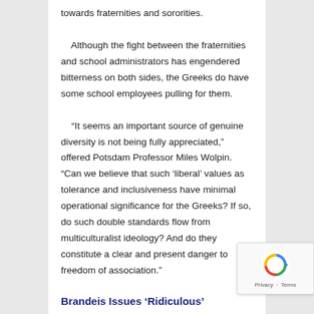towards fraternities and sororities.

Although the fight between the fraternities and school administrators has engendered bitterness on both sides, the Greeks do have some school employees pulling for them.

“It seems an important source of genuine diversity is not being fully appreciated,” offered Potsdam Professor Miles Wolpin. “Can we believe that such ‘liberal’ values as tolerance and inclusiveness have minimal operational significance for the Greeks? If so, do such double standards flow from multiculturalist ideology? And do they constitute a clear and present danger to freedom of association.”
Brandeis Issues ‘Ridiculous’
[Figure (other): Google reCAPTCHA widget showing the reCAPTCHA logo with Privacy and Terms links]